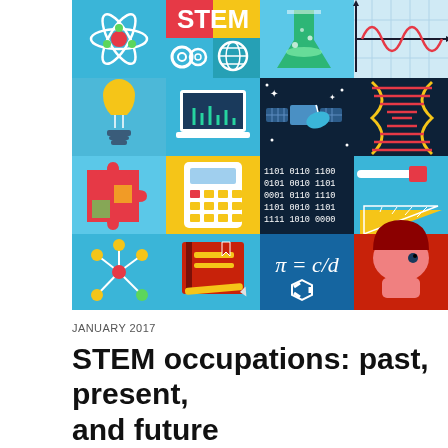[Figure (infographic): A colorful STEM-themed infographic mosaic showing 16 icons in a 4x4 grid on various blue backgrounds: atom, STEM text, flask/beaker, sine wave graph, lightbulb, laptop with circuit chart, satellite in space, DNA helix, puzzle gears, calculator, binary code, ruler and pencil tools, molecule network, open book with pencil, pi=c/d formula with benzene ring, and a person's head profile.]
JANUARY 2017
STEM occupations: past, present, and future